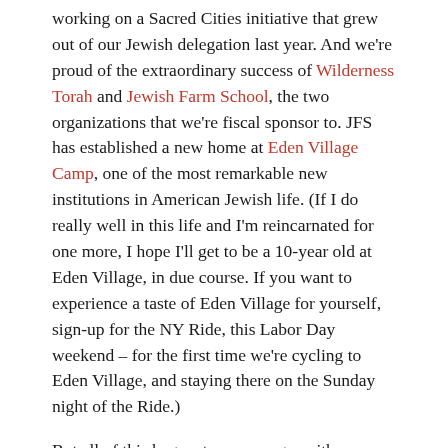working on a Sacred Cities initiative that grew out of our Jewish delegation last year. And we're proud of the extraordinary success of Wilderness Torah and Jewish Farm School, the two organizations that we're fiscal sponsor to. JFS has established a new home at Eden Village Camp, one of the most remarkable new institutions in American Jewish life. (If I do really well in this life and I'm reincarnated for one more, I hope I'll get to be a 10-year old at Eden Village, in due course. If you want to experience a taste of Eden Village for yourself, sign-up for the NY Ride, this Labor Day weekend – for the first time we're cycling to Eden Village, and staying there on the Sunday night of the Ride.)
But all of this began, ten years ago, with our Cross-USA Jewish Environmental Bike Ride – the event that literally put us on the map. It was really an extraordinary experience, life-changing for all of our participants. I've been re-reading the route updates that I sent out during the Ride. Today there are over 50,000 people on Hazon's email list, but in the summer of 2000, with the organization just a few months old, there were barely a few hundred. So most of you probably haven't had a chance to read